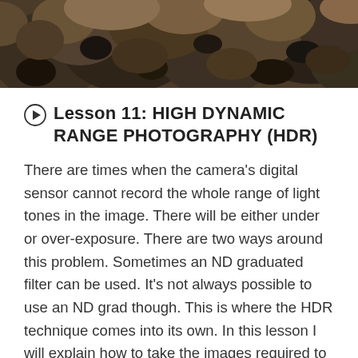[Figure (photo): Close-up photograph of dark rocks/boulders with rough textures, filling the top portion of the page]
Lesson 11: HIGH DYNAMIC RANGE PHOTOGRAPHY (HDR)
There are times when the camera’s digital sensor cannot record the whole range of light tones in the image. There will be either under or over-exposure. There are two ways around this problem. Sometimes an ND graduated filter can be used. It’s not always possible to use an ND grad though. This is where the HDR technique comes into its own. In this lesson I will explain how to take the images required to produce an